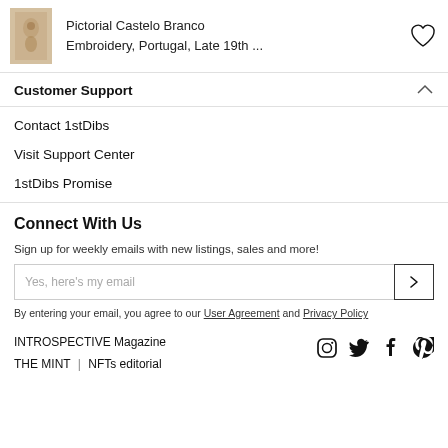[Figure (photo): Small thumbnail image of a Pictorial Castelo Branco Embroidery textile item]
Pictorial Castelo Branco Embroidery, Portugal, Late 19th ...
Customer Support
Contact 1stDibs
Visit Support Center
1stDibs Promise
Connect With Us
Sign up for weekly emails with new listings, sales and more!
Yes, here's my email
By entering your email, you agree to our User Agreement and Privacy Policy
INTROSPECTIVE Magazine
THE MINT | NFTs editorial